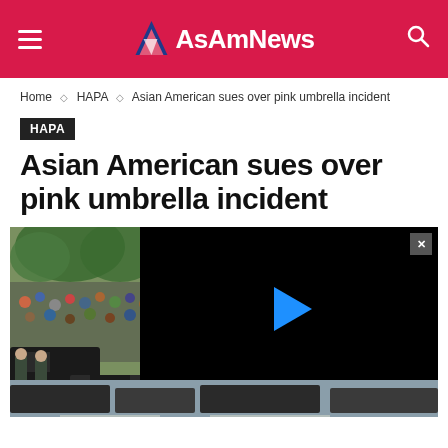AsAmNews
Home ◇ HAPA ◇ Asian American sues over pink umbrella incident
HAPA
Asian American sues over pink umbrella incident
[Figure (photo): Photo of a crowd scene on the left and a black video player panel with a blue play button on the right, with an X close button in the top-right corner of the video panel.]